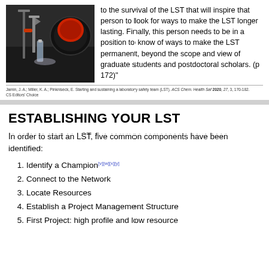[Figure (photo): Laboratory equipment photo showing glassware and a spray gun/nozzle mounted on a dark surface with a circular red object]
to the survival of the LST that will inspire that person to look for ways to make the LST longer lasting. Finally, this person needs to be in a position to know of ways to make the LST permanent, beyond the scope and view of graduate students and postdoctoral scholars. (p 172)"
Jamin, J. A.; Miller, K. A.; Pinkniseck, E. Starting and sustaining a laboratory safety team (LST). ACS Chem. Health Saf 2020, 27, 3, 170-182.
CS Editors' Choice
ESTABLISHING YOUR LST
In order to start an LST, five common components have been identified:
1. Identify a Champion[v][w][x][y]
2. Connect to the Network
3. Locate Resources
4. Establish a Project Management Structure
5. First Project: high profile and low resource